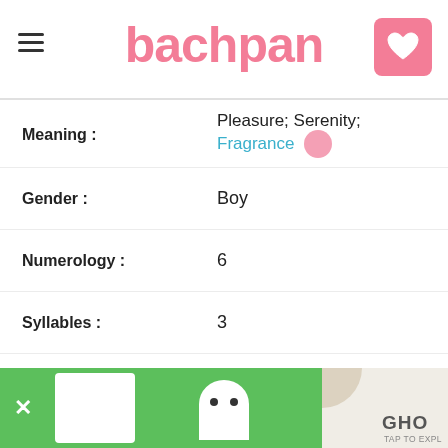bachpan
| Field | Value |
| --- | --- |
| Meaning : | Pleasure; Serenity; Fragrance |
| Gender : | Boy |
| Numerology : | 6 |
| Syllables : | 3 |
| Religion : | Hindu |
| Rashi : | Mesha (A, L, E, I, O) |
| Nakshatra : | Krithika (A, Ee, U, EA, I, E) |
| Liked this name? : | 👍 2  👎 0 |
| Add to favourite: | ♡ |